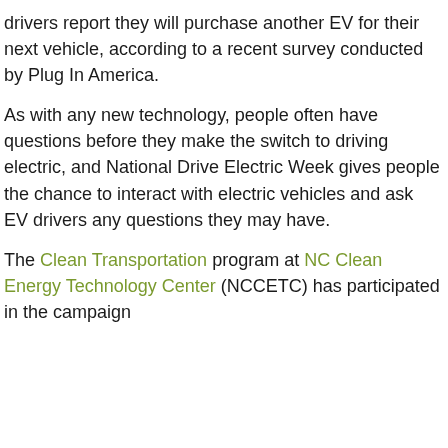drivers report they will purchase another EV for their next vehicle, according to a recent survey conducted by Plug In America.
As with any new technology, people often have questions before they make the switch to driving electric, and National Drive Electric Week gives people the chance to interact with electric vehicles and ask EV drivers any questions they may have.
The Clean Transportation program at NC Clean Energy Technology Center (NCCETC) has participated in the campaign